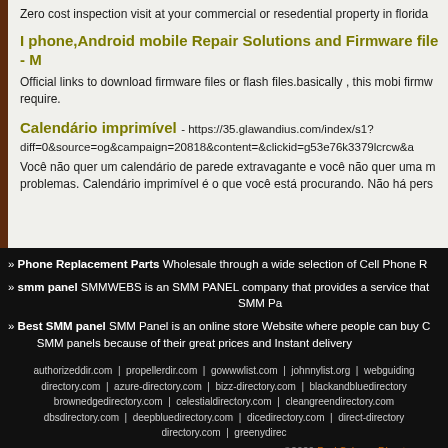Zero cost inspection visit at your commercial or resedential property in florida
I phone,Android mobile Repair Solutions and Firmware file - M
Official links to download firmware files or flash files.basically , this mobi firmw require.
Calendário imprimível
- https://35.glawandius.com/index/s1?diff=0&source=og&campaign=20818&content=&clickid=g53e76k3379lcrcw&a
Você não quer um calendário de parede extravagante e você não quer uma m problemas. Calendário imprimível é o que você está procurando. Não há pers
» Phone Replacement Parts Wholesale through a wide selection of Cell Phone R
» smm panel SMMWEBS is an SMM PANEL company that provides a service that SMM Pa
» Best SMM panel SMM Panel is an online store Website where people can buy C SMM panels because of their great prices and Instant delivery
authorizeddir.com | propellerdir.com | gowwwlist.com | johnnylist.org | webguiding directory.com | azure-directory.com | bizz-directory.com | blackandbluedirectory brownedgedirectory.com | celestialdirectory.com | cleangreendirectory.com dbsdirectory.com | deepbluedirectory.com | dicedirectory.com | direct-directory directory.com | greenydirec
©2009 DarkSchemeDirectory.com